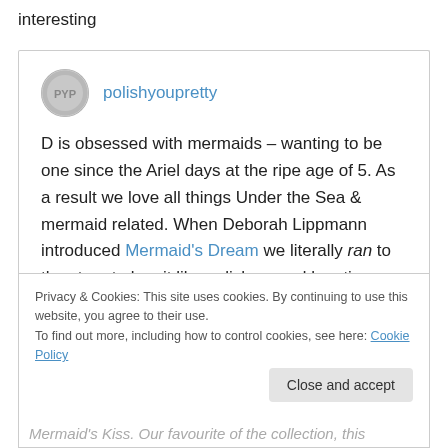interesting
polishyoupretty
D is obsessed with mermaids – wanting to be one since the Ariel days at the ripe age of 5. As a result we love all things Under the Sea & mermaid related. When Deborah Lippmann introduced Mermaid's Dream we literally ran to the store to buy it like polish crazed lunatics. The mix of shimmer
Privacy & Cookies: This site uses cookies. By continuing to use this website, you agree to their use.
To find out more, including how to control cookies, see here: Cookie Policy
Close and accept
Mermaid's Kiss. Our favourite of the collection, this